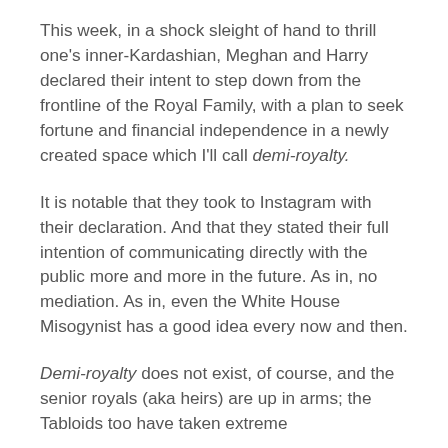This week, in a shock sleight of hand to thrill one's inner-Kardashian, Meghan and Harry declared their intent to step down from the frontline of the Royal Family, with a plan to seek fortune and financial independence in a newly created space which I'll call demi-royalty.
It is notable that they took to Instagram with their declaration. And that they stated their full intention of communicating directly with the public more and more in the future. As in, no mediation. As in, even the White House Misogynist has a good idea every now and then.
Demi-royalty does not exist, of course, and the senior royals (aka heirs) are up in arms; the Tabloids too have taken extreme